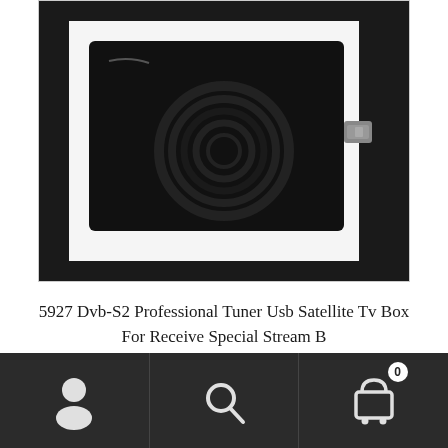[Figure (photo): A black DVB-S2 USB satellite TV tuner device with circular ventilation pattern and a coaxial connector on the right side, shown on a white background.]
5927 Dvb-S2 Professional Tuner Usb Satellite Tv Box For Receive Special Stream B
Buy from Bonanza (Global)
[Figure (infographic): Bottom navigation bar with user/account icon, search icon, and shopping cart icon with badge showing 0.]